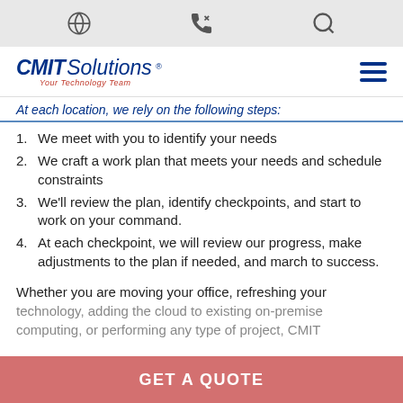[Icon bar with globe, phone, search icons]
[Figure (logo): CMIT Solutions logo with tagline 'Your Technology Team']
At each location, we rely on the following steps:
1. We meet with you to identify your needs
2. We craft a work plan that meets your needs and schedule constraints
3. We'll review the plan, identify checkpoints, and start to work on your command.
4. At each checkpoint, we will review our progress, make adjustments to the plan if needed, and march to success.
Whether you are moving your office, refreshing your technology, adding the cloud to existing on-premise computing, or performing any type of project, CMIT
GET A QUOTE